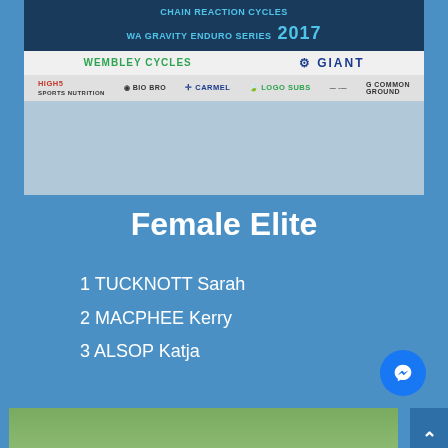[Figure (photo): Chain Reaction Cycles WA Gravity Enduro Series 2017 banner with sponsor logos including Wembley Cycles, Giant, High5 Sports Nutrition, Carmel, and Common Ground]
Female Elite
1 TUCKNOTT Sarah
2 MACPHEE Kerry
3 ALSOP Katja
[Figure (photo): Podium photo of cyclists celebrating at the Chain Reaction Cycles WA Gravity Enduro event, outdoors with trees in background]